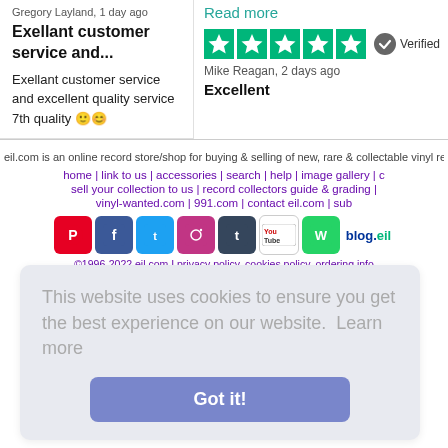Gregory Layland, 1 day ago
Exellant customer service and...
Exellant customer service and excellent quality service 7th quality 🙂😊
Read more
[Figure (other): Five green Trustpilot stars rating]
Verified
Mike Reagan, 2 days ago
Excellent
eil.com is an online record store/shop for buying & selling of new, rare & collectable vinyl rec
home | link to us | accessories | search | help | image gallery | c
sell your collection to us | record collectors guide & grading |
vinyl-wanted.com | 991.com | contact eil.com | sub
[Figure (other): Social media icons: Pinterest, Facebook, Twitter, Instagram, Tumblr, YouTube, WhatsApp, blog.eil]
©1996-2022 eil.com I privacy policy. cookies policy. ordering info
This website uses cookies to ensure you get the best experience on our website.  Learn more
Got it!